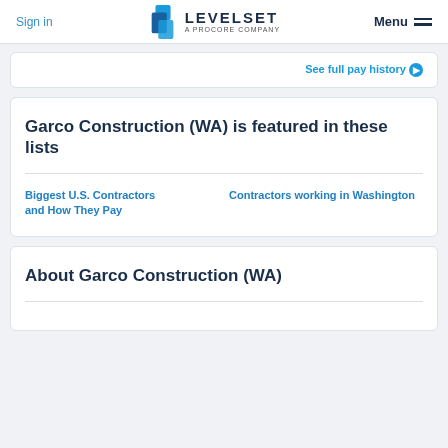Sign in | LEVELSET A PROCORE COMPANY | Menu
See full pay history
Garco Construction (WA) is featured in these lists
Biggest U.S. Contractors and How They Pay
Contractors working in Washington
About Garco Construction (WA)